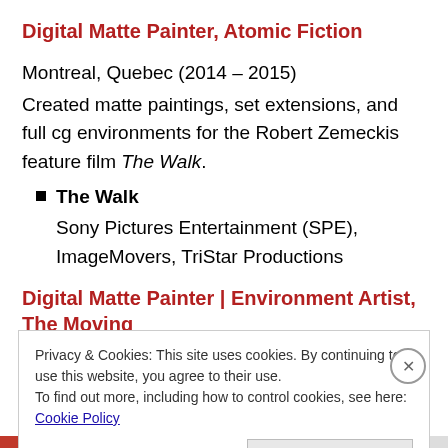Digital Matte Painter, Atomic Fiction
Montreal, Quebec (2014 – 2015)
Created matte paintings, set extensions, and full cg environments for the Robert Zemeckis feature film The Walk.
The Walk
Sony Pictures Entertainment (SPE), ImageMovers, TriStar Productions
Digital Matte Painter | Environment Artist, The Moving
Privacy & Cookies: This site uses cookies. By continuing to use this website, you agree to their use.
To find out more, including how to control cookies, see here: Cookie Policy
Close and accept